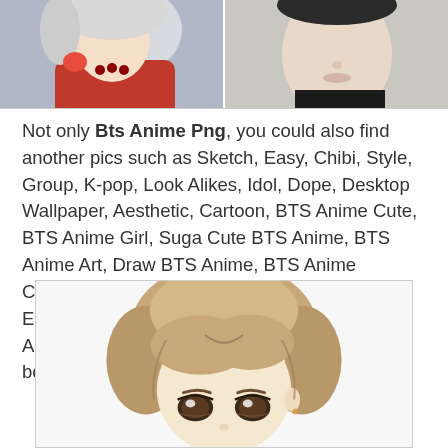[Figure (illustration): Top strip showing two images side by side: left is an anime-style character in red traditional clothing with white hair, right is a real or semi-realistic photo of a young man in dark clothing against a light background.]
Not only Bts Anime Png, you could also find another pics such as Sketch, Easy, Chibi, Style, Group, K-pop, Look Alikes, Idol, Dope, Desktop Wallpaper, Aesthetic, Cartoon, BTS Anime Cute, BTS Anime Girl, Suga Cute BTS Anime, BTS Anime Art, Draw BTS Anime, BTS Anime Characters, BTS Anime Sketch, BTS Anime Easy, BTS Chibi Anime, BTS Anime Style, BTS Anime Group, and BTS Kpop Anime. in search box.
[Figure (illustration): Chibi-style anime illustration of a BTS member with light brown hair, large eyes, and a pale complexion, shown from the face and head only.]